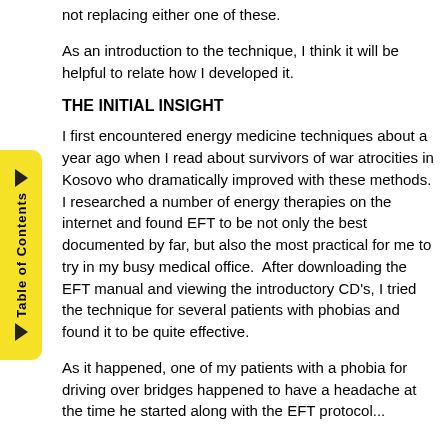not replacing either one of these.
As an introduction to the technique, I think it will be helpful to relate how I developed it.
THE INITIAL INSIGHT
I first encountered energy medicine techniques about a year ago when I read about survivors of war atrocities in Kosovo who dramatically improved with these methods.  I researched a number of energy therapies on the internet and found EFT to be not only the best documented by far, but also the most practical for me to try in my busy medical office.  After downloading the EFT manual and viewing the introductory CD's, I tried the technique for several patients with phobias and found it to be quite effective.
As it happened, one of my patients with a phobia for driving over bridges happened to have a headache at the time he started along with the EFT protocol...